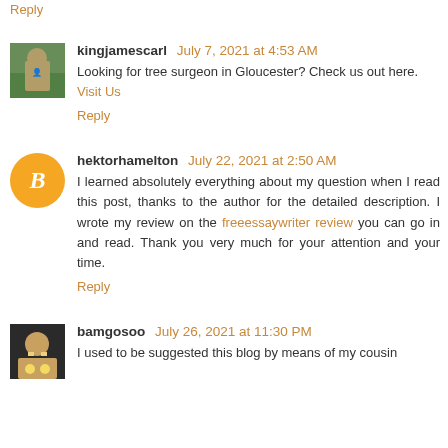Reply
kingjamescarl  July 7, 2021 at 4:53 AM
Looking for tree surgeon in Gloucester? Check us out here.
Visit Us
Reply
hektorhamelton  July 22, 2021 at 2:50 AM
I learned absolutely everything about my question when I read this post, thanks to the author for the detailed description. I wrote my review on the freeessaywriter review you can go in and read. Thank you very much for your attention and your time.
Reply
bamgosoo  July 26, 2021 at 11:30 PM
I used to be suggested this blog by means of my cousin